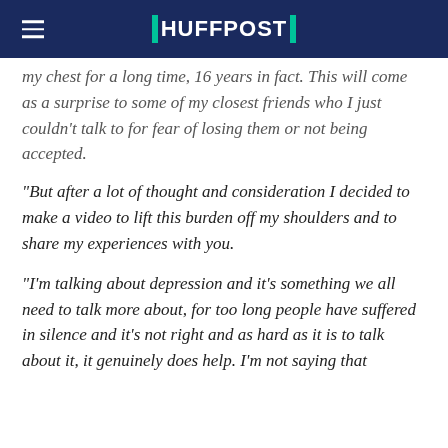HUFFPOST
my chest for a long time, 16 years in fact. This will come as a surprise to some of my closest friends who I just couldn't talk to for fear of losing them or not being accepted.
"But after a lot of thought and consideration I decided to make a video to lift this burden off my shoulders and to share my experiences with you.
"I'm talking about depression and it's something we all need to talk more about, for too long people have suffered in silence and it's not right and as hard as it is to talk about it, it genuinely does help. I'm not saying that